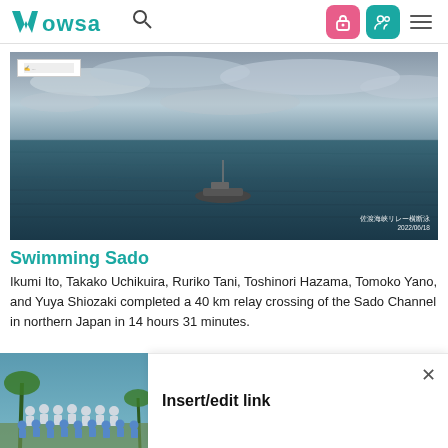WOWSA [navigation bar with search, login, and menu icons]
[Figure (photo): Aerial photo of a calm ocean with a small boat in the middle, cloudy sky. Watermark text in Japanese and date 2022/06/18 in bottom right corner.]
Swimming Sado
Ikumi Ito, Takako Uchikuira, Ruriko Tani, Toshinori Hazama, Tomoko Yano, and Yuya Shiozaki completed a 40 km relay crossing of the Sado Channel in northern Japan in 14 hours 31 minutes.
[Figure (photo): Group photo of swimmers in white and blue shirts outdoors with palm trees.]
Insert/edit link